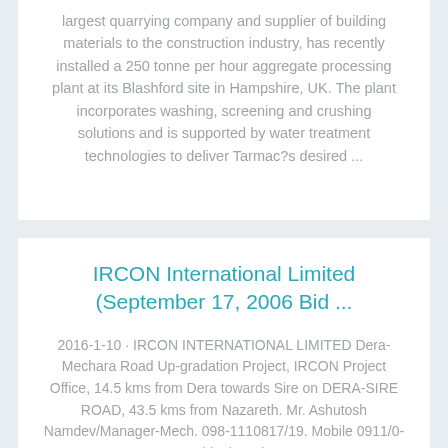largest quarrying company and supplier of building materials to the construction industry, has recently installed a 250 tonne per hour aggregate processing plant at its Blashford site in Hampshire, UK. The plant incorporates washing, screening and crushing solutions and is supported by water treatment technologies to deliver Tarmac?s desired ...
IRCON International Limited (September 17, 2006 Bid ...
2016-1-10 · IRCON INTERNATIONAL LIMITED Dera-Mechara Road Up-gradation Project, IRCON Project Office, 14.5 kms from Dera towards Sire on DERA-SIRE ROAD, 43.5 kms from Nazareth. Mr. Ashutosh Namdev/Manager-Mech. 098-1110817/19. Mobile 0911/0-99-00 Ethiopia — last ...